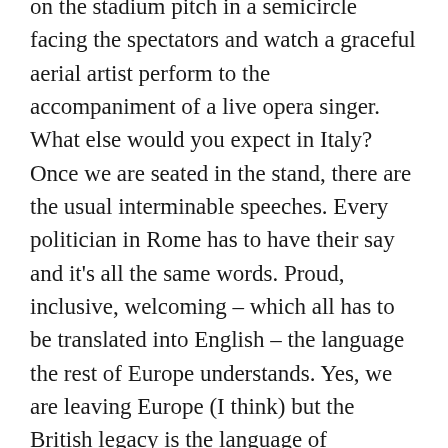on the stadium pitch in a semicircle facing the spectators and watch a graceful aerial artist perform to the accompaniment of a live opera singer. What else would you expect in Italy? Once we are seated in the stand, there are the usual interminable speeches. Every politician in Rome has to have their say and it's all the same words. Proud, inclusive, welcoming – which all has to be translated into English – the language the rest of Europe understands. Yes, we are leaving Europe (I think) but the British legacy is the language of commerce and we can't undo that. There follows more dancing – sexy and together. We all agree, an improvement on the Paris Gay games performance.